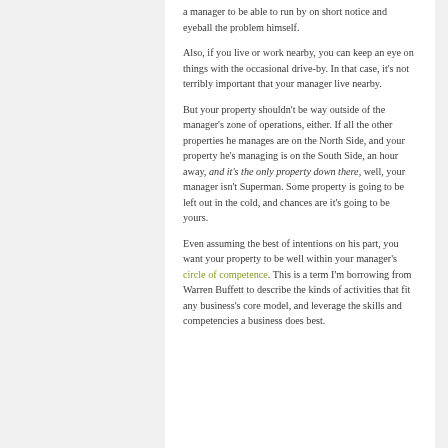a manager to be able to run by on short notice and eyeball the problem himself.
Also, if you live or work nearby, you can keep an eye on things with the occasional drive-by. In that case, it's not terribly important that your manager live nearby.
But your property shouldn't be way outside of the manager's zone of operations, either. If all the other properties he manages are on the North Side, and your property he's managing is on the South Side, an hour away, and it's the only property down there, well, your manager isn't Superman. Some property is going to be left out in the cold, and chances are it's going to be yours.
Even assuming the best of intentions on his part, you want your property to be well within your manager's circle of competence. This is a term I'm borrowing from Warren Buffett to describe the kinds of activities that fit any business's core model, and leverage the skills and competencies a business does best.